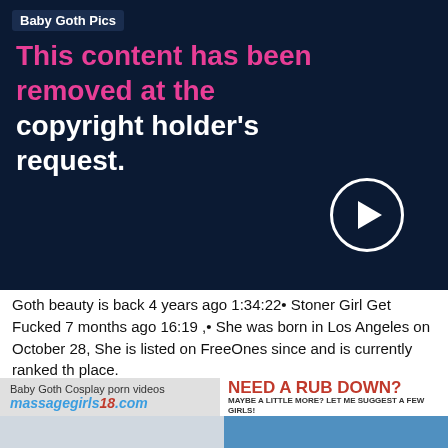[Figure (screenshot): Dark navy blue video player block showing copyright removal notice and play button. Label reads 'Baby Goth Pics'. Text says 'This content has been removed at the copyright holder's request.' with a circular play button on the right.]
Goth beauty is back 4 years ago 1:34:22• Stoner Girl Get Fucked 7 months ago 16:19 ,• She was born in Los Angeles on October 28, She is listed on FreeOnes since and is currently ranked th place.
[Figure (screenshot): Advertisement banner: left side shows 'Baby Goth Cosplay porn videos' overlay on MassageGirls18.com logo; right side shows red text 'NEED A RUB DOWN? MAYBE A LITTLE MORE? LET ME SUGGEST A FEW GIRLS!']
[Figure (photo): Bottom portion showing two women with dark hair, partial crop.]